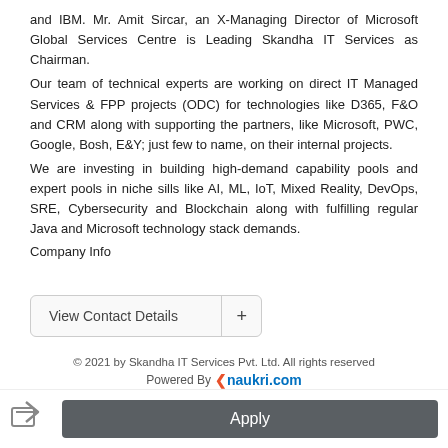and IBM. Mr. Amit Sircar, an X-Managing Director of Microsoft Global Services Centre is Leading Skandha IT Services as Chairman.
Our team of technical experts are working on direct IT Managed Services & FPP projects (ODC) for technologies like D365, F&O and CRM along with supporting the partners, like Microsoft, PWC, Google, Bosh, E&Y; just few to name, on their internal projects.
We are investing in building high-demand capability pools and expert pools in niche sills like AI, ML, IoT, Mixed Reality, DevOps, SRE, Cybersecurity and Blockchain along with fulfilling regular Java and Microsoft technology stack demands.
Company Info
View Contact Details +
© 2021 by Skandha IT Services Pvt. Ltd. All rights reserved
Powered By naukri.com
Apply